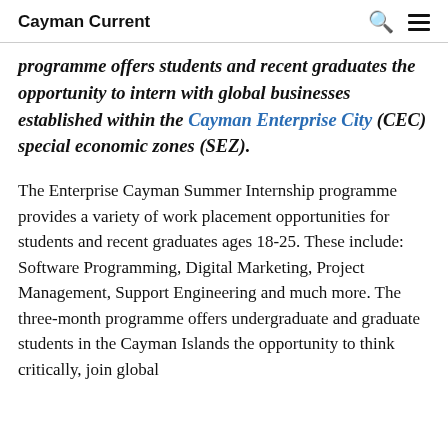Cayman Current
programme offers students and recent graduates the opportunity to intern with global businesses established within the Cayman Enterprise City (CEC) special economic zones (SEZ).
The Enterprise Cayman Summer Internship programme provides a variety of work placement opportunities for students and recent graduates ages 18-25. These include: Software Programming, Digital Marketing, Project Management, Support Engineering and much more. The three-month programme offers undergraduate and graduate students in the Cayman Islands the opportunity to think critically, join global